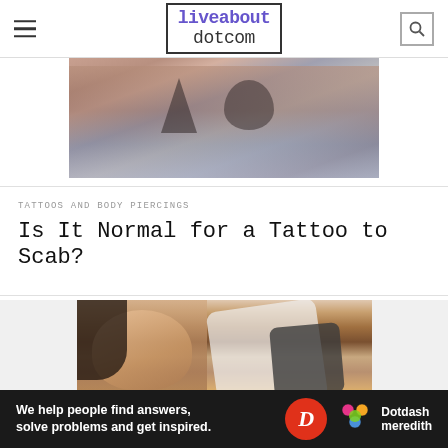liveabout dotcom
[Figure (photo): Close-up photo of a person's chest area showing tattoos and sparkly clothing]
TATTOOS AND BODY PIERCINGS
Is It Normal for a Tattoo to Scab?
[Figure (photo): Young woman with long dark hair looking down at her shoulder while being tattooed by an artist wearing white gloves holding a tattoo machine]
TATTOOS AND BODY PIERCINGS
We help people find answers, solve problems and get inspired. Dotdash meredith